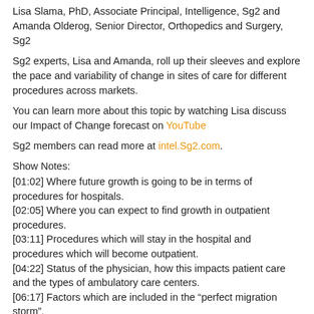Lisa Slama, PhD, Associate Principal, Intelligence, Sg2 and Amanda Olderog, Senior Director, Orthopedics and Surgery, Sg2
Sg2 experts, Lisa and Amanda, roll up their sleeves and explore the pace and variability of change in sites of care for different procedures across markets.
You can learn more about this topic by watching Lisa discuss our Impact of Change forecast on YouTube
Sg2 members can read more at intel.Sg2.com.
Show Notes:
[01:02] Where future growth is going to be in terms of procedures for hospitals.
[02:05] Where you can expect to find growth in outpatient procedures.
[03:11] Procedures which will stay in the hospital and procedures which will become outpatient.
[04:22] Status of the physician, how this impacts patient care and the types of ambulatory care centers.
[06:17] Factors which are included in the “perfect migration storm”.
[08:55] Understanding the specifics of a market and how to advise professionals on where to start.